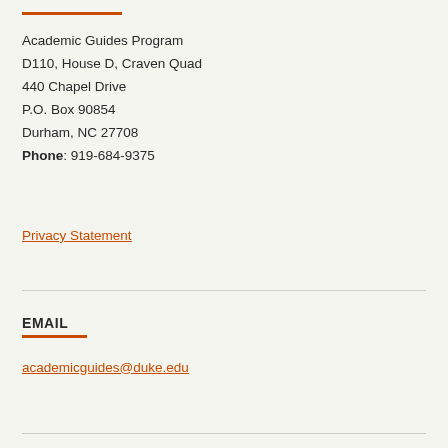Academic Guides Program
D110, House D, Craven Quad
440 Chapel Drive
P.O. Box 90854
Durham, NC 27708
Phone: 919-684-9375
Privacy Statement
EMAIL
academicguides@duke.edu